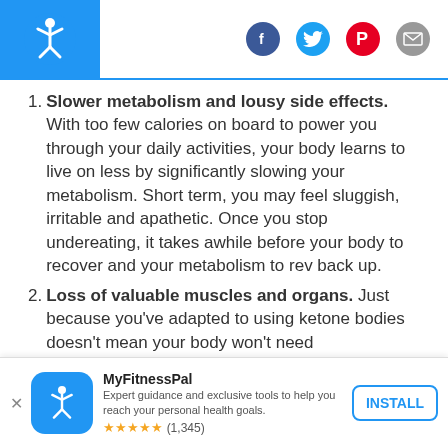MyFitnessPal header with logo and social icons (Facebook, Twitter, Pinterest, Mail)
1. Slower metabolism and lousy side effects. With too few calories on board to power you through your daily activities, your body learns to live on less by significantly slowing your metabolism. Short term, you may feel sluggish, irritable and apathetic. Once you stop undereating, it takes awhile before your body to recover and your metabolism to rev back up.
2. Loss of valuable muscles and organs. Just because you've adapted to using ketone bodies doesn't mean your body won't need
MyFitnessPal — Expert guidance and exclusive tools to help you reach your personal health goals. ★★★★★ (1,345) INSTALL